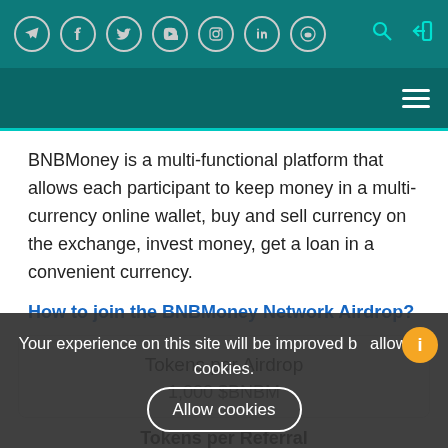Social icons row: Telegram, Facebook, Twitter, YouTube, Instagram, LinkedIn, Reddit; Search and Login icons
Navigation bar with hamburger menu
BNBMoney is a multi-functional platform that allows each participant to keep money in a multi-currency online wallet, buy and sell currency on the exchange, invest money, get a loan in a convenient currency.
How to join the BNBMoney Network Airdrop?
| Tokens per Airdrop |
| --- |
| 1,000 $BNBM |
Your experience on this site will be improved by allowing cookies.
Tokens per Referral